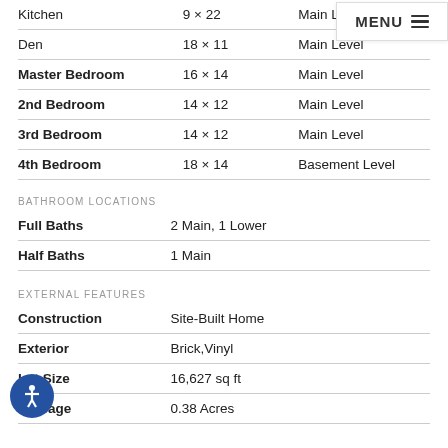| Room | Dimensions | Level |
| --- | --- | --- |
| Kitchen | 9 × 22 | Main Level |
| Den | 18 × 11 | Main Level |
| Master Bedroom | 16 × 14 | Main Level |
| 2nd Bedroom | 14 × 12 | Main Level |
| 3rd Bedroom | 14 × 12 | Main Level |
| 4th Bedroom | 18 × 14 | Basement Level |
BATHROOM LOCATIONS
| Type | Location |
| --- | --- |
| Full Baths | 2 Main, 1 Lower |
| Half Baths | 1 Main |
EXTERNAL FEATURES
| Feature | Value |
| --- | --- |
| Construction | Site-Built Home |
| Exterior | Brick,Vinyl |
| Lot Size | 16,627 sq ft |
| Acreage | 0.38 Acres |